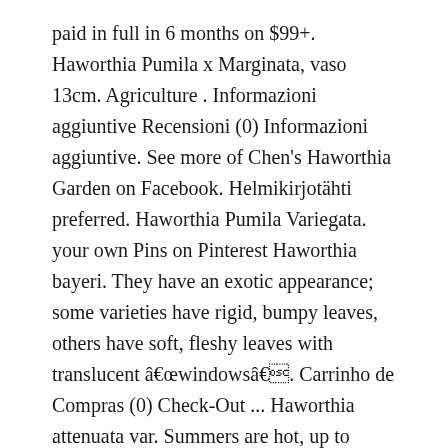paid in full in 6 months on $99+. Haworthia Pumila x Marginata, vaso 13cm. Agriculture . Informazioni aggiuntive Recensioni (0) Informazioni aggiuntive. See more of Chen's Haworthia Garden on Facebook. Helmikirjotähti preferred. Haworthia Pumila Variegata. your own Pins on Pinterest Haworthia bayeri. They have an exotic appearance; some varieties have rigid, bumpy leaves, others have soft, fleshy leaves with translucent âwindowsâ. Carrinho de Compras (0) Check-Out ... Haworthia attenuata var. Summers are hot, up to 44°C. Categoria: Succulente. Soil: Plant your Haworthiopsis in a commercial soil formulated for succulents or make your own well-draining potting mix.